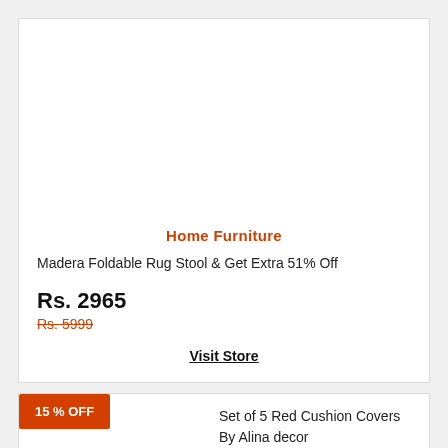Home Furniture
Madera Foldable Rug Stool & Get Extra 51% Off
Rs. 2965
Rs. 5999
Visit Store
15 % OFF
Set of 5 Red Cushion Covers By Alina decor